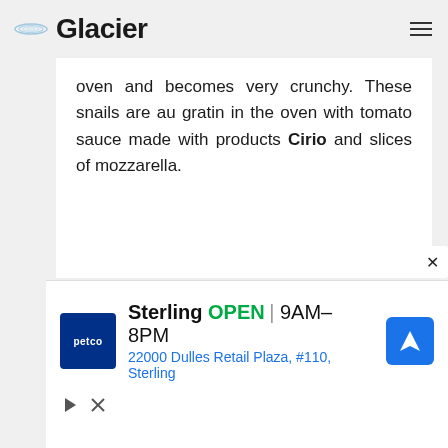Glacier
oven and becomes very crunchy. These snails are au gratin in the oven with tomato sauce made with products Cirio and slices of mozzarella.
[Figure (screenshot): Advertisement banner for Petco store in Sterling showing store name, OPEN status, hours 9AM-8PM, address 22000 Dulles Retail Plaza, #110, Sterling, with navigation icon]
Sterling  OPEN | 9AM–8PM  22000 Dulles Retail Plaza, #110, Sterling